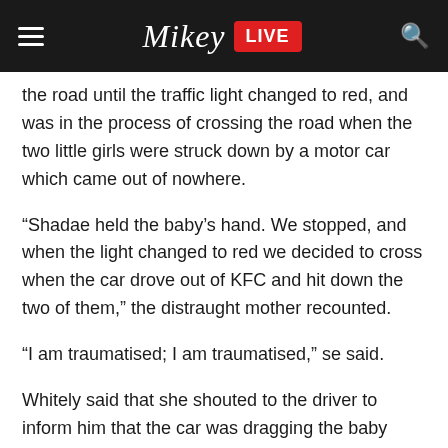Mikey LIVE
the road until the traffic light changed to red, and was in the process of crossing the road when the two little girls were struck down by a motor car which came out of nowhere.
“Shadae held the baby’s hand. We stopped, and when the light changed to red we decided to cross when the car drove out of KFC and hit down the two of them,” the distraught mother recounted.
“I am traumatised; I am traumatised,” se said.
Whitely said that she shouted to the driver to inform him that the car was dragging the baby trapped underneath it, but her pleas fell on deaf ears.
“The two of them fell down but the baby dropped under the